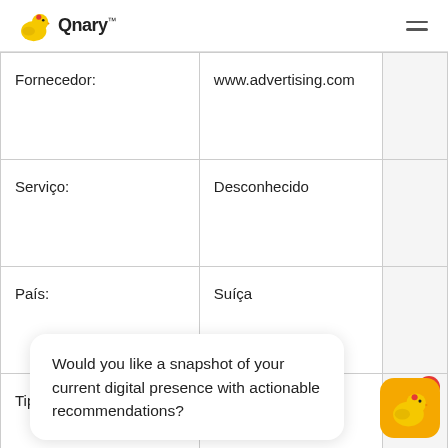Qnary
| Fornecedor: | www.advertising.com |  |
| Serviço: | Desconhecido |  |
| País: | Suíça |  |
| Tipo: | server_cookie |  |
Would you like a snapshot of your current digital presence with actionable recommendations?